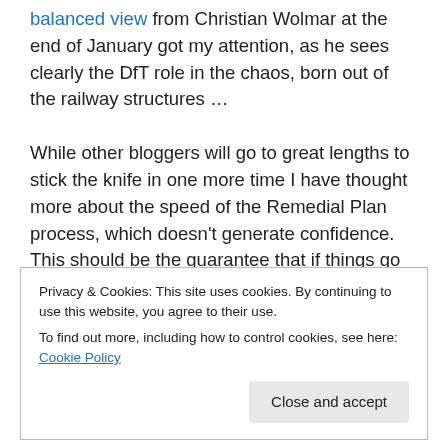balanced view from Christian Wolmar at the end of January got my attention, as he sees clearly the DfT role in the chaos, born out of the railway structures … While other bloggers will go to great lengths to stick the knife in one more time I have thought more about the speed of the Remedial Plan process, which doesn't generate confidence. This should be the guarantee that if things go wrong then they are put right pretty quick, but in this case the problems are fundamental – lack of rolling stock, demotivated staff and not enough of them, a
Privacy & Cookies: This site uses cookies. By continuing to use this website, you agree to their use. To find out more, including how to control cookies, see here: Cookie Policy